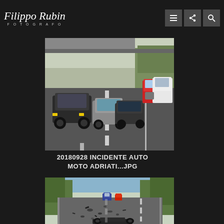Filippo Rubin FOTOGRAFO
[Figure (photo): Traffic on a highway road with multiple cars and trucks visible. Cars queued in lanes on a multi-lane road with green vegetation on the right side.]
20180928 INCIDENTE AUTO MOTO ADRIATI...JPG
[Figure (photo): Aftermath of a road accident on a tree-lined road. Debris on the road surface, damaged motorcycle or vehicle at the bottom, emergency vehicles in the background.]